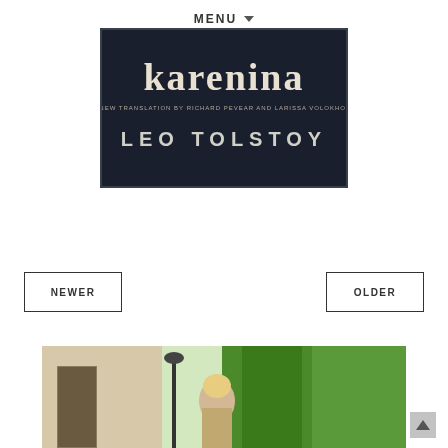MENU ▼
[Figure (photo): Book cover of Anna Karenina by Leo Tolstoy, new translation by Richard Pevear and Larissa Volokhonsky. Dark cover with large text 'Karenina' and 'LEO TOLSTOY'.]
NEWER
OLDER
[Figure (photo): Outdoor photo showing a person with blonde hair standing near a doorway, with green trees in the background.]